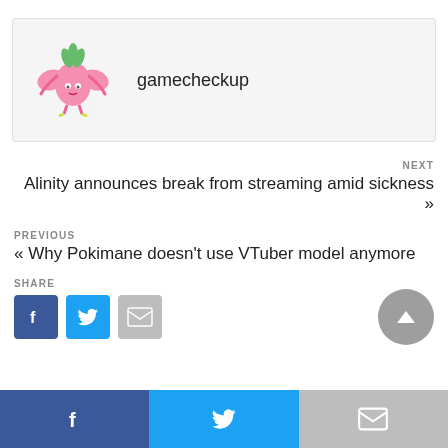[Figure (illustration): gamecheckup author avatar - a cartoon pink creature with green leaves on head and yellow feet]
gamecheckup
NEXT
Alinity announces break from streaming amid sickness »
PREVIOUS
« Why Pokimane doesn't use VTuber model anymore
SHARE
[Figure (infographic): Social share buttons: Facebook (blue), Twitter (blue), Gmail (grey), scroll-to-top button (grey circle with arrow)]
[Figure (infographic): Bottom navigation bar with Facebook, Twitter, and Gmail icons]